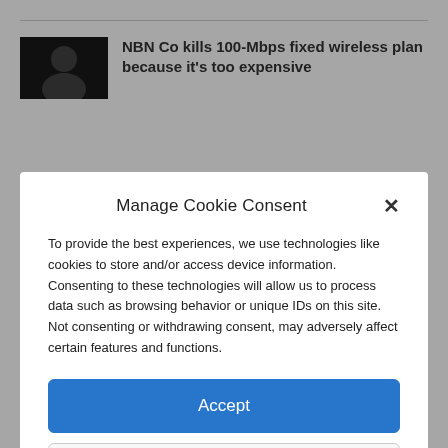[Figure (screenshot): Partially visible news article thumbnail showing a person, with headline 'NBN Co kills 100-Mbps fixed wireless plan because it's too expensive']
Manage Cookie Consent
To provide the best experiences, we use technologies like cookies to store and/or access device information. Consenting to these technologies will allow us to process data such as browsing behavior or unique IDs on this site. Not consenting or withdrawing consent, may adversely affect certain features and functions.
Accept
Deny
View preferences
Terms and Conditions of Service   Privacy Policy